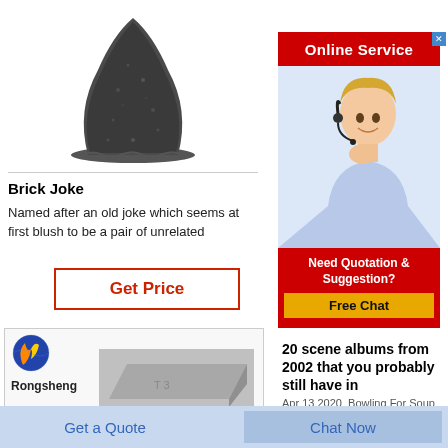[Figure (photo): Black powder pile on white background]
Brick Joke
Named after an old joke which seems at first blush to be a pair of unrelated
Get Price
[Figure (logo): Rongsheng logo with blue/orange globe and text, with grey brick image]
[Figure (infographic): Online Service banner with female customer service agent wearing headset]
Need Quotation & Suggestion?
Free Chat
20 scene albums from 2002 that you probably still have in
Apr 13 2020  Bowling For Soup
Get a Quote
Chat Now